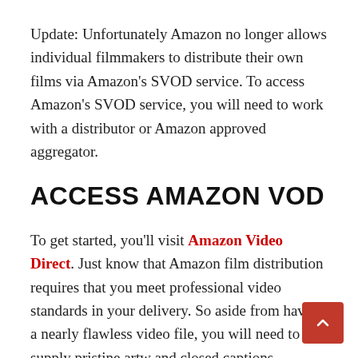Update: Unfortunately Amazon no longer allows individual filmmakers to distribute their own films via Amazon's SVOD service. To access Amazon's SVOD service, you will need to work with a distributor or Amazon approved aggregator.
ACCESS AMAZON VOD
To get started, you'll visit Amazon Video Direct. Just know that Amazon film distribution requires that you meet professional video standards in your delivery. So aside from having a nearly flawless video file, you will need to supply pristine art and closed captions. Because of these standards,